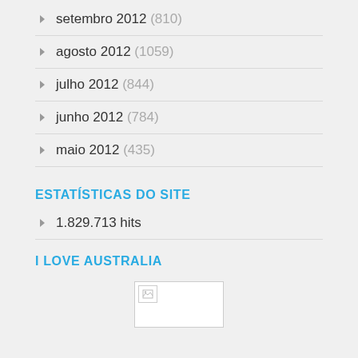setembro 2012 (810)
agosto 2012 (1059)
julho 2012 (844)
junho 2012 (784)
maio 2012 (435)
ESTATÍSTICAS DO SITE
1.829.713 hits
I LOVE AUSTRALIA
[Figure (photo): Partially loaded image placeholder for I Love Australia section]